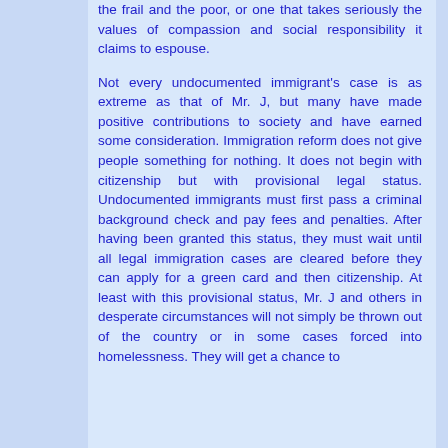the frail and the poor, or one that takes seriously the values of compassion and social responsibility it claims to espouse. Not every undocumented immigrant's case is as extreme as that of Mr. J, but many have made positive contributions to society and have earned some consideration. Immigration reform does not give people something for nothing. It does not begin with citizenship but with provisional legal status. Undocumented immigrants must first pass a criminal background check and pay fees and penalties. After having been granted this status, they must wait until all legal immigration cases are cleared before they can apply for a green card and then citizenship. At least with this provisional status, Mr. J and others in desperate circumstances will not simply be thrown out of the country or in some cases forced into homelessness. They will get a chance to